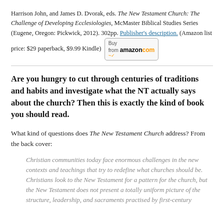Harrison John, and James D. Dvorak, eds. The New Testament Church: The Challenge of Developing Ecclesiologies, McMaster Biblical Studies Series (Eugene, Oregon: Pickwick, 2012). 302pp. Publisher's description. (Amazon list price: $29 paperback, $9.99 Kindle) [Buy from amazon.com]
Are you hungry to cut through centuries of traditions and habits and investigate what the NT actually says about the church? Then this is exactly the kind of book you should read.
What kind of questions does The New Testament Church address? From the back cover:
Christian communities today face enormous challenges in the new contexts and teachings that try to redefine what churches should be. Christians look to the New Testament for a pattern for the church, but the New Testament does not present a totally uniform picture of the structure, leadership, and sacraments practised by first-century